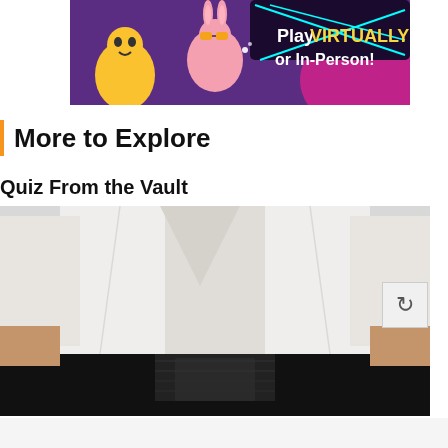[Figure (illustration): Advertisement banner with cartoon characters (yellow character and bunny with glasses) on a purple background with text 'Play VIRTUALLY or In-Person!']
More to Explore
Quiz From the Vault
[Figure (photo): Close-up photo of a person wearing a white martial arts gi (karate uniform) with a black belt tied around the waist, viewed from the torso down]